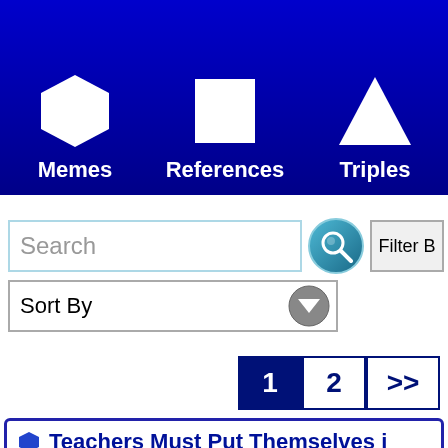Memes | References | Triples | Sch...
Search
Filter B...
Sort By
1  2  >>
Teachers Must Put Themselves i...
According to Devlin, teachers have a responsib... interests. "It's not the students' responsibility to... As teachers, it's our responsibility to put oursel... And if they are in a digital world, where they wi... difficult, challenging problems in a video game,... didn't start where they are and take advantage... That's the world they live in, t...
Folksonomies: teaching  gaming  engage...